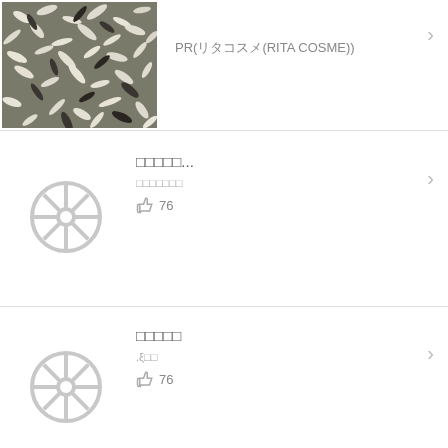[Figure (photo): Close-up photo of white and black rice grains mixed together]
PR(リタコスメ(RITA COSME))
[Figure (illustration): Gray wheel/gear placeholder icon]
□□□□□...
□□□□□□□
👍 76
[Figure (illustration): Gray wheel/gear placeholder icon]
□□□□□
.ξ□□
👍 76